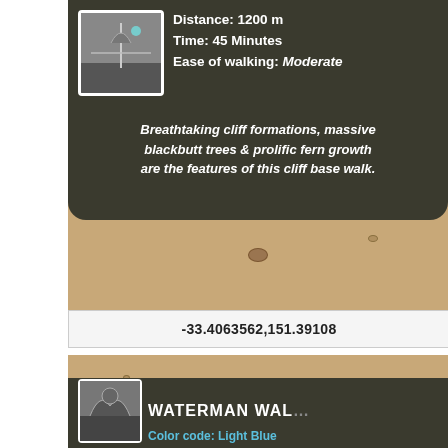[Figure (photo): Close-up photograph of a dark wooden trail sign showing distance 1200m, time 45 minutes, ease of walking moderate, with descriptive text about cliff formations, blackbutt trees and fern growth. Sign is mounted on wooden boards.]
-33.4063562,151.39108
[Figure (photo): Photograph of another wooden trail sign partially visible, showing 'WATERMAN WAL...' title in large white bold text, Color code: Light Blue, with a thumbnail image on the left. Sign mounted on wooden boards.]